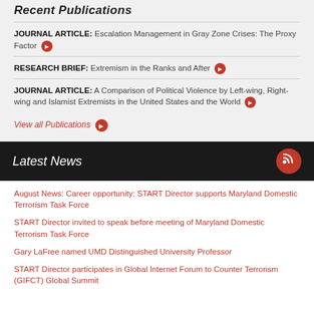Recent Publications
JOURNAL ARTICLE: Escalation Management in Gray Zone Crises: The Proxy Factor →
RESEARCH BRIEF: Extremism in the Ranks and After →
JOURNAL ARTICLE: A Comparison of Political Violence by Left-wing, Right-wing and Islamist Extremists in the United States and the World →
View all Publications →
Latest News
August News: Career opportunity; START Director supports Maryland Domestic Terrorism Task Force
START Director invited to speak before meeting of Maryland Domestic Terrorism Task Force
Gary LaFree named UMD Distinguished University Professor
START Director participates in Global Internet Forum to Counter Terrorism (GIFCT) Global Summit